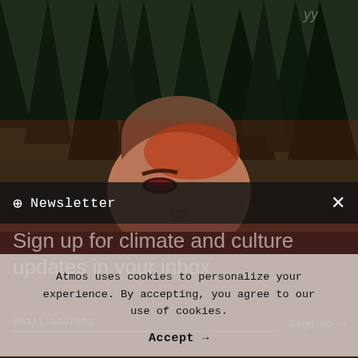[Figure (photo): Portrait photo of a person with dramatic red eye makeup and red light illuminating their face, set against a dark forest background with tall evergreen trees.]
Newsletter
Sign up for climate and culture updates in your inbox
Atmos uses cookies to personalize your experience. By accepting, you agree to our use of cookies.
Accept →
email address
Sign up →